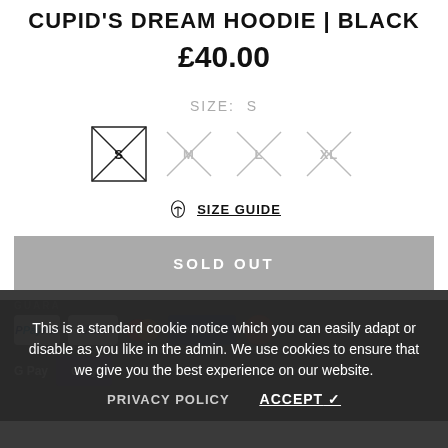CUPID'S DREAM HOODIE | BLACK
£40.00
SIZE: S
[Figure (other): Four size selector buttons (S selected with box, M, L, XL all crossed out with X marks indicating out of stock)]
SIZE GUIDE
SOLD OUT
GUARANTEED SAFE CHECKOUT
[Figure (other): Payment method icons: PayPal, Visa, Mastercard, blue button, Klarna, Google Pay, OPay]
This is a standard cookie notice which you can easily adapt or disable as you like in the admin. We use cookies to ensure that we give you the best experience on our website.
PRIVACY POLICY
ACCEPT ✓